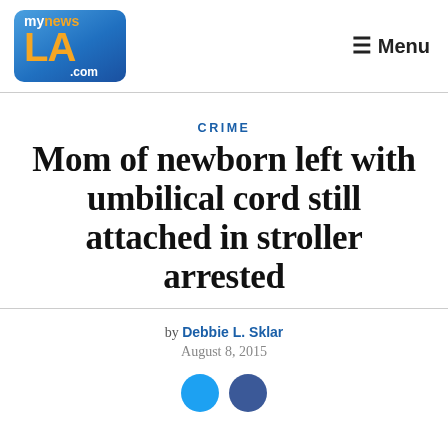[Figure (logo): myNewsLA.com logo — blue rounded rectangle with 'my news' in white/orange text and 'LA' in large orange letters, '.com' in white]
≡ Menu
CRIME
Mom of newborn left with umbilical cord still attached in stroller arrested
by Debbie L. Sklar
August 8, 2015